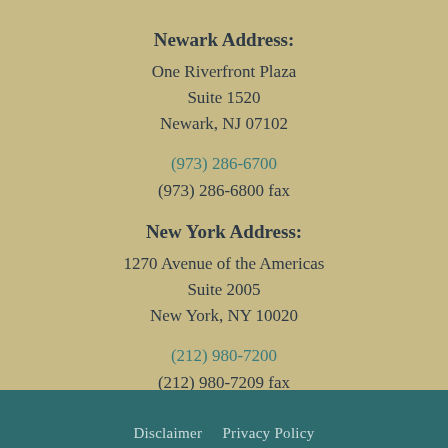Newark Address:
One Riverfront Plaza
Suite 1520
Newark, NJ 07102
(973) 286-6700
(973) 286-6800 fax
New York Address:
1270 Avenue of the Americas
Suite 2005
New York, NY 10020
(212) 980-7200
(212) 980-7209 fax
Disclaimer    Privacy Policy